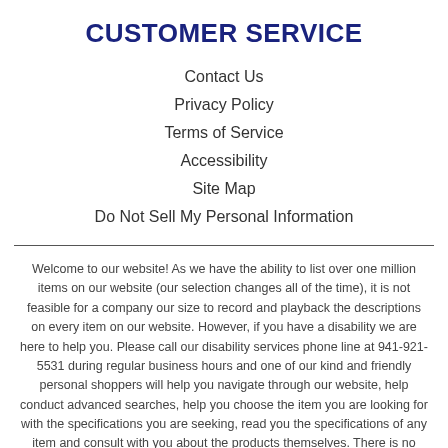CUSTOMER SERVICE
Contact Us
Privacy Policy
Terms of Service
Accessibility
Site Map
Do Not Sell My Personal Information
Welcome to our website! As we have the ability to list over one million items on our website (our selection changes all of the time), it is not feasible for a company our size to record and playback the descriptions on every item on our website. However, if you have a disability we are here to help you. Please call our disability services phone line at 941-921-5531 during regular business hours and one of our kind and friendly personal shoppers will help you navigate through our website, help conduct advanced searches, help you choose the item you are looking for with the specifications you are seeking, read you the specifications of any item and consult with you about the products themselves. There is no charge for the help of this personal shopper for anyone with a disability. Finally, your personal shopper will explain our Privacy Policy and Terms of